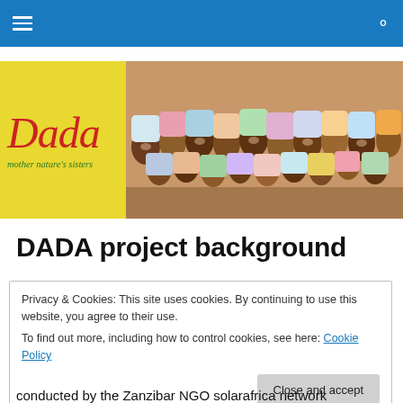Navigation bar with hamburger menu and search icon
[Figure (logo): DADA mother nature's sisters logo on yellow background alongside a photo of a group of women in colourful headscarves]
DADA project background
Privacy & Cookies: This site uses cookies. By continuing to use this website, you agree to their use.
To find out more, including how to control cookies, see here: Cookie Policy
[Close and accept button]
conducted by the Zanzibar NGO solarafrica network